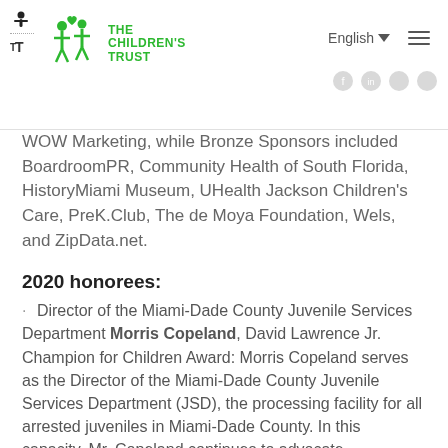The Children's Trust — English navigation header
WOW Marketing, while Bronze Sponsors included BoardroomPR, Community Health of South Florida, HistoryMiami Museum, UHealth Jackson Children's Care, PreK.Club, The de Moya Foundation, Wels, and ZipData.net.
2020 honorees:
Director of the Miami-Dade County Juvenile Services Department Morris Copeland, David Lawrence Jr. Champion for Children Award: Morris Copeland serves as the Director of the Miami-Dade County Juvenile Services Department (JSD), the processing facility for all arrested juveniles in Miami-Dade County. In this capacity, Mr. Copeland continues to advocate passionately for the at-risk children in our community. During his tenure as Director, JSD has